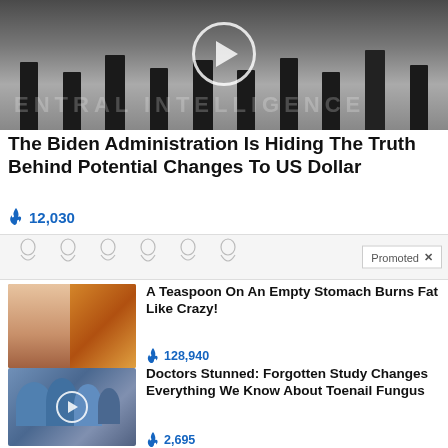[Figure (photo): People standing in CIA headquarters lobby with the Central Intelligence Agency seal on the floor; a video play button circle overlay is in the center.]
The Biden Administration Is Hiding The Truth Behind Potential Changes To US Dollar
🔥 12,030
[Figure (infographic): Promoted ad banner with body silhouette sketches and a 'Promoted X' label in the corner.]
[Figure (photo): Woman with toned abs next to a spoonful of spice/powder on an orange background.]
A Teaspoon On An Empty Stomach Burns Fat Like Crazy!
🔥 128,940
[Figure (photo): Blue-bandaged toes with a video play button circle overlay.]
Doctors Stunned: Forgotten Study Changes Everything We Know About Toenail Fungus
🔥 2,695